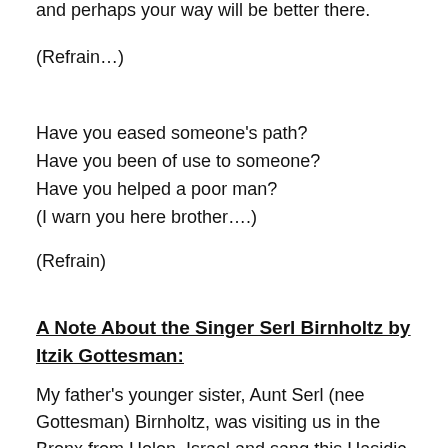and perhaps your way will be better there.
(Refrain…)
Have you eased someone's path?
Have you been of use to someone?
Have you helped a poor man?
(I warn you here brother….)
(Refrain)
A Note About the Singer Serl Birnholtz by Itzik Gottesman:
My father's younger sister, Aunt Serl (nee Gottesman) Birnholtz, was visiting us in the Bronx from Holon, Israel and sang this Hasidic song at our dining room table. She was born in Siret, Romania (Seret in Yiddish) in 1927 and